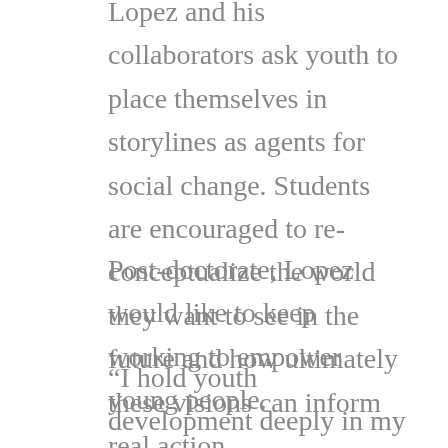Lopez and his collaborators ask youth to place themselves in storylines as agents for social change. Students are encouraged to re-conceptualize the world they want to see in the future and how ultimately these visions can inform real action.
Post-doctorate, Lopez would like to keep working to empower young people.
“I hold youth development deeply in my heart,” he said. “I would like to be involved in that type of work — it is really inspiring for me to see young people reaffirm themselves through